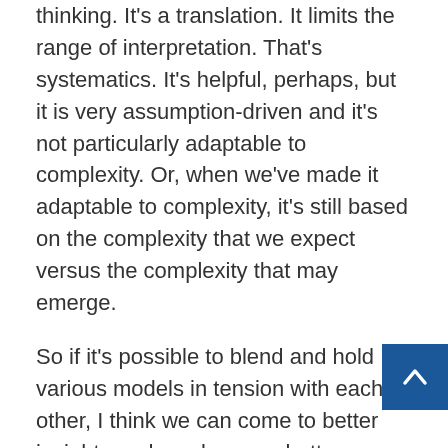thinking. It's a translation. It limits the range of interpretation. That's systematics. It's helpful, perhaps, but it is very assumption-driven and it's not particularly adaptable to complexity. Or, when we've made it adaptable to complexity, it's still based on the complexity that we expect versus the complexity that may emerge.
So if it's possible to blend and hold various models in tension with each other, I think we can come to better insights and maybe even better decisions as asset managers. So I would just say this: Read on, but do so with caution. Just because I don't think that no model answers everything and that any model that suggests that it does basically is selectively reporting its success in a very circular fashion.